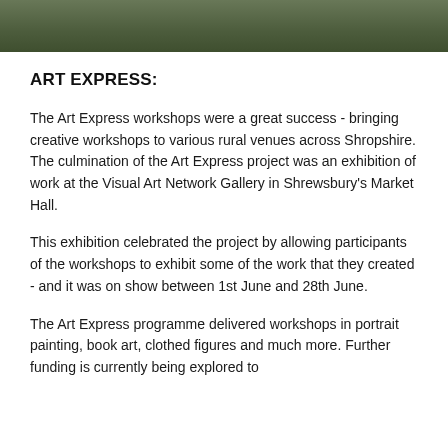[Figure (photo): Partial view of a photo showing people, cropped at top of page]
ART EXPRESS:
The Art Express workshops were a great success - bringing creative workshops to various rural venues across Shropshire. The culmination of the Art Express project was an exhibition of work at the Visual Art Network Gallery in Shrewsbury's Market Hall.
This exhibition celebrated the project by allowing participants of the workshops to exhibit some of the work that they created - and it was on show between 1st June and 28th June.
The Art Express programme delivered workshops in portrait painting, book art, clothed figures and much more. Further funding is currently being explored to